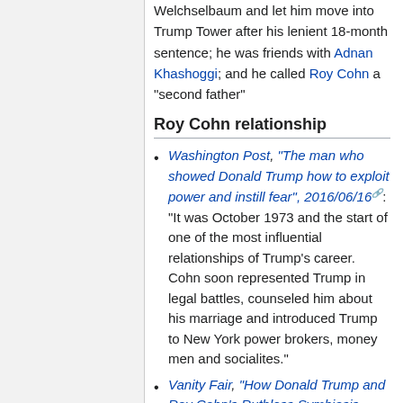Welchselbaum and let him move into Trump Tower after his lenient 18-month sentence; he was friends with Adnan Khashoggi; and he called Roy Cohn a "second father"
Roy Cohn relationship
Washington Post, "The man who showed Donald Trump how to exploit power and instill fear", 2016/06/16: "It was October 1973 and the start of one of the most influential relationships of Trump's career. Cohn soon represented Trump in legal battles, counseled him about his marriage and introduced Trump to New York power brokers, money men and socialites."
Vanity Fair, "How Donald Trump and Roy Cohn's Ruthless Symbiosis Changed America", 2017/06/...